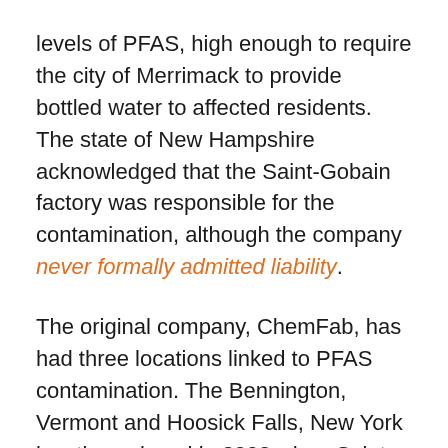levels of PFAS, high enough to require the city of Merrimack to provide bottled water to affected residents. The state of New Hampshire acknowledged that the Saint-Gobain factory was responsible for the contamination, although the company never formally admitted liability.
The original company, ChemFab, has had three locations linked to PFAS contamination. The Bennington, Vermont and Hoosick Falls, New York locations closed in 2002 when Saint-Gobain purchased the company from ChemFab and consolidated operations in Merrimack. Both New York and Vermont have since conducted widespread blood testing and community health outcome monitoring. Meanwhile, the Merrimack location remains open and residents have faced an uphill battle against the state in a fight to have more comprehensive health monitoring. After